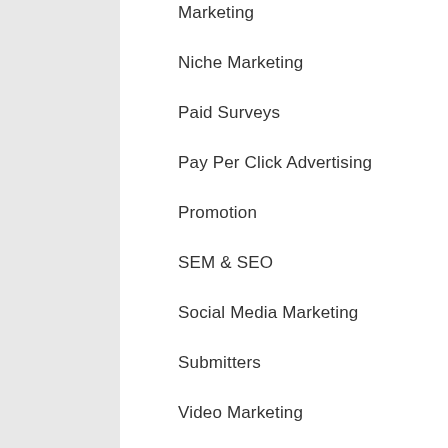Marketing
Niche Marketing
Paid Surveys
Pay Per Click Advertising
Promotion
SEM & SEO
Social Media Marketing
Submitters
Video Marketing
Alternative Energy
Conservation & Efficiency
General
Animal Care & Pets
Crafts & Hobbies
Entertaining
Gardening & Horticulture
General